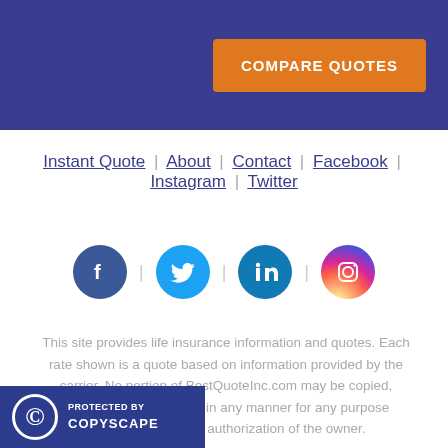COMPARE QUOTES
Instant Quote | About | Contact | Facebook | Instagram | Twitter
[Figure (illustration): Social media icon circles: Facebook (blue), Twitter (light blue), LinkedIn (dark blue), Instagram (gradient pink/purple)]
This site provides life insurance information and quotes. Each rate shown is a quote based on information provided by the carrier. No portion of BestQuoteInc.com may be copied, published or distributed in any manner for any purpose without prior written authorization of the owner.
[Figure (logo): Protected by Copyscape badge with copyright symbol]